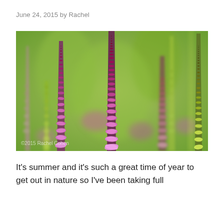June 24, 2015 by Rachel
[Figure (photo): Close-up photograph of tall spiked purple and green flowers (Veronicastrum or similar) in a garden, with a blurred green background. Watermark reads '©2015 Rachel Cohen' in the lower left corner.]
It's summer and it's such a great time of year to get out in nature so I've been taking full